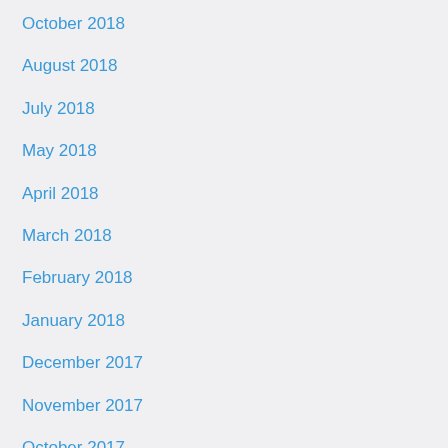October 2018
August 2018
July 2018
May 2018
April 2018
March 2018
February 2018
January 2018
December 2017
November 2017
October 2017
September 2017
August 2017
May 2017
April 2017